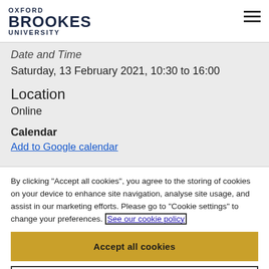OXFORD BROOKES UNIVERSITY
Date and Time
Saturday, 13 February 2021, 10:30 to 16:00
Location
Online
Calendar
Add to Google calendar
By clicking "Accept all cookies", you agree to the storing of cookies on your device to enhance site navigation, analyse site usage, and assist in our marketing efforts. Please go to "Cookie settings" to change your preferences. See our cookie policy
Accept all cookies
Cookie settings